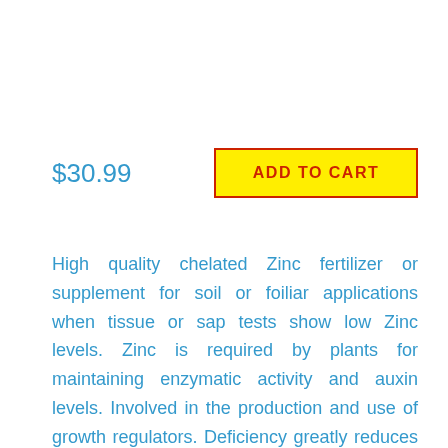$30.99
[Figure (other): ADD TO CART button with yellow background and red border]
High quality chelated Zinc fertilizer or supplement for soil or foiliar applications when tissue or sap tests show low Zinc levels. Zinc is required by plants for maintaining enzymatic activity and auxin levels. Involved in the production and use of growth regulators. Deficiency greatly reduces plant growth and quality of all crops.